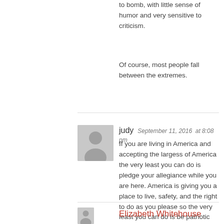to bomb, with little sense of humor and very sensitive to criticism.
Of course, most people fall between the extremes.
[Figure (illustration): Gray avatar/placeholder image of a person silhouette for user 'judy']
judy  September 11, 2016  at 8:08 pm
If you are living in America and accepting the largess of America the very least you can do is pledge your allegiance while you are here. America is giving you a place to live, safety, and the right to do as you please so the very least you can do is be patriotic while you are here.
[Figure (illustration): Gray avatar/placeholder image of a person silhouette for user 'Elizabeth Whitehouse']
Elizabeth Whitehouse